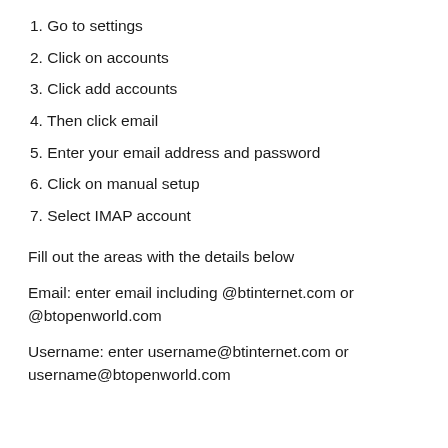1. Go to settings
2. Click on accounts
3. Click add accounts
4. Then click email
5. Enter your email address and password
6. Click on manual setup
7. Select IMAP account
Fill out the areas with the details below
Email: enter email including @btinternet.com or @btopenworld.com
Username: enter username@btinternet.com or username@btopenworld.com